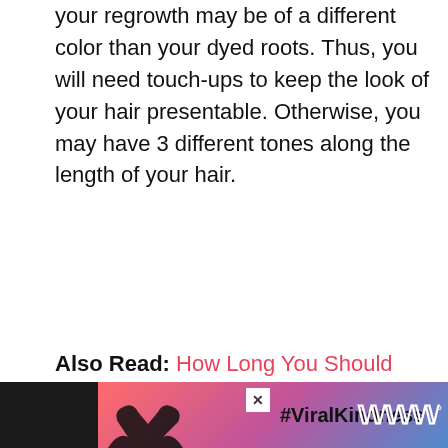your regrowth may be of a different color than your dyed roots. Thus, you will need touch-ups to keep the look of your hair presentable. Otherwise, you may have 3 different tones along the length of your hair.
Also Read: How Long You Should Leave Dye in Your Hair?
A Step-by-Step Guide
[Figure (photo): Back of a person's head showing hair with visible roots/growth lines, held in a bun or updo style]
[Figure (other): Advertisement banner: black background with colorful image showing heart-hands silhouette and #ViralKindness text, with X close button and brand logo]